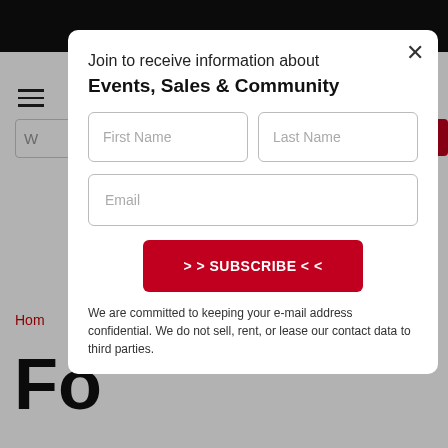[Figure (screenshot): Website background with black top bar, hamburger menu, search bar, red button, breadcrumb showing 'Hom...', and large bold 'F' heading partially visible behind modal overlay.]
Join to receive information about Events, Sales & Community
First Name
Last Name
Email
>> SUBSCRIBE <<
We are committed to keeping your e-mail address confidential. We do not sell, rent, or lease our contact data to third parties.